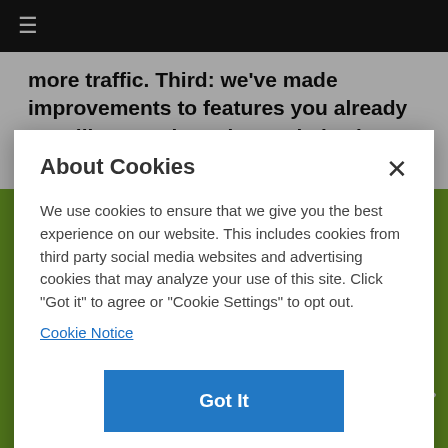≡
more traffic. Third: we've made improvements to features you already use, like search engine optimization options, changing URLs on the fly, a
About Cookies
We use cookies to ensure that we give you the best experience on our website. This includes cookies from third party social media websites and advertising cookies that may analyze your use of this site. Click "Got it" to agree or "Cookie Settings" to opt out.
Cookie Notice
Got It
Cookies Settings